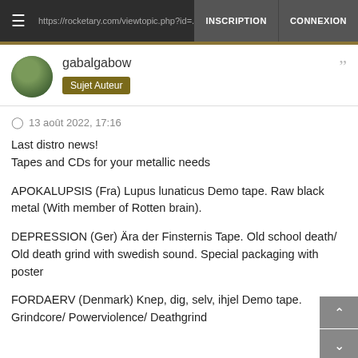INSCRIPTION  CONNEXION
gabalgabow
Sujet Auteur
13 août 2022, 17:16
Last distro news!
Tapes and CDs for your metallic needs

APOKALUPSIS (Fra) Lupus lunaticus Demo tape. Raw black metal (With member of Rotten brain).

DEPRESSION (Ger) Ära der Finsternis Tape. Old school death/ Old death grind with swedish sound. Special packaging with poster

FORDAERV (Denmark) Knep, dig, selv, ihjel Demo tape. Grindcore/ Powerviolence/ Deathgrind